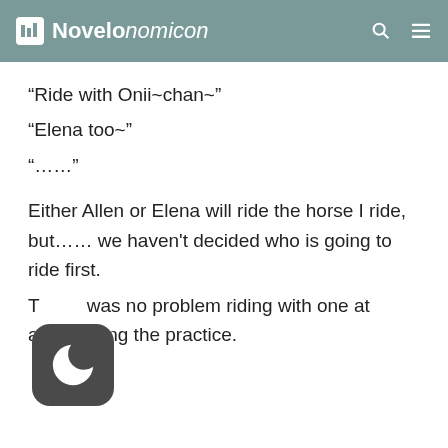Novelonomicon
“Ride with Onii~chan~”
“Elena too~”
“……”
Either Allen or Elena will ride the horse I ride, but…… we haven't decided who is going to ride first.
T[ere] was no problem riding with one at a[time] during the practice.